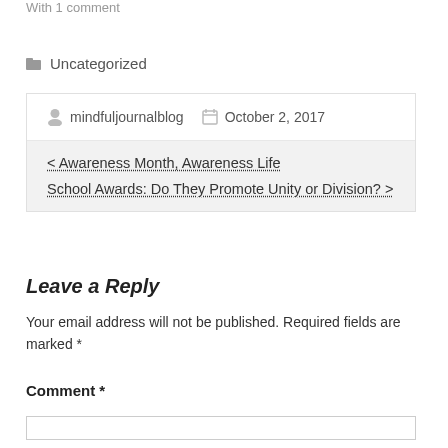With 1 comment
Uncategorized
mindfuljournalblog   October 2, 2017
< Awareness Month, Awareness Life
School Awards: Do They Promote Unity or Division? >
Leave a Reply
Your email address will not be published. Required fields are marked *
Comment *